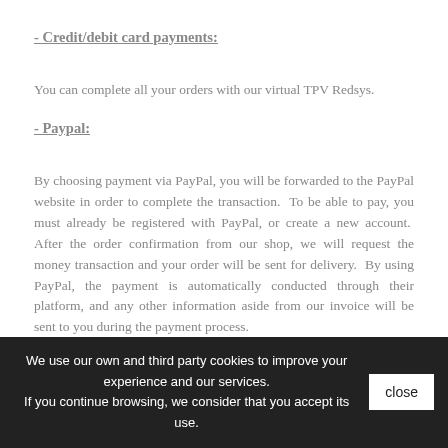- Credit/debit card payments:
You can complete all your orders with our virtual TPV Redsys.
- Paypal:
By choosing payment via PayPal, you will be forwarded to the PayPal website in order to complete the transaction.  To be able to pay, you must already be registered with PayPal, or create a new account.  After the order confirmation from our shop, we will request the money transaction and your order will be sent for delivery.  By using PayPal, the payment is automatically conducted through their platform, and any other information aside from our invoice will be sent to you during the payment process.
We use our own and third party cookies to improve your experience and our services. If you continue browsing, we consider that you accept its use.